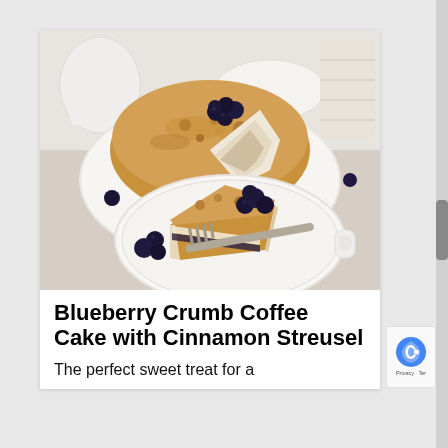[Figure (photo): A blueberry crumb coffee cake on a white plate, with a slice cut out and placed on a smaller white plate in the foreground, topped with fresh blueberries and a fork. White teapot and dishes in background.]
Blueberry Crumb Coffee Cake with Cinnamon Streusel
The perfect sweet treat for a